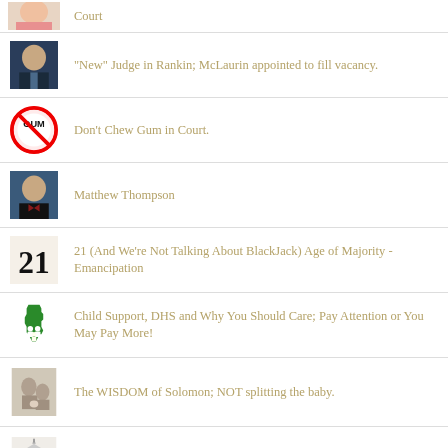Court
"New" Judge in Rankin; McLaurin appointed to fill vacancy.
Don't Chew Gum in Court.
Matthew Thompson
21 (And We're Not Talking About BlackJack) Age of Majority - Emancipation
Child Support, DHS and Why You Should Care; Pay Attention or You May Pay More!
The WISDOM of Solomon; NOT splitting the baby.
Why Lawyers are not sworn in in Court...usually.